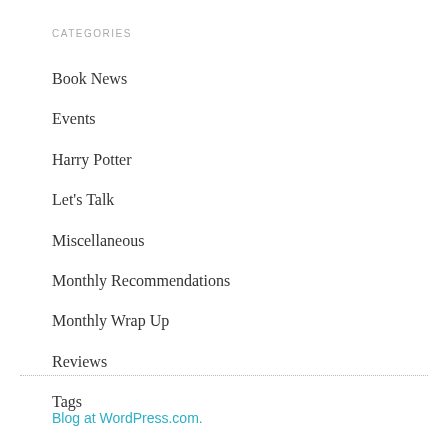CATEGORIES
Book News
Events
Harry Potter
Let's Talk
Miscellaneous
Monthly Recommendations
Monthly Wrap Up
Reviews
Tags
Blog at WordPress.com.